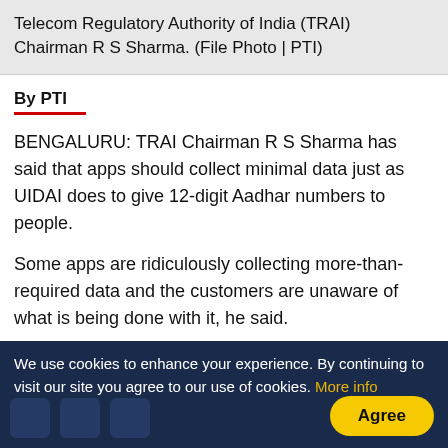Telecom Regulatory Authority of India (TRAI) Chairman R S Sharma. (File Photo | PTI)
By PTI
BENGALURU: TRAI Chairman R S Sharma has said that apps should collect minimal data just as UIDAI does to give 12-digit Aadhar numbers to people.
Some apps are ridiculously collecting more-than-required data and the customers are unaware of what is being done with it, he said.
"For Aadhar enrollment, we collect just four set of data - your name, date of birth and your communication
We use cookies to enhance your experience. By continuing to visit our site you agree to our use of cookies. More info  Agree